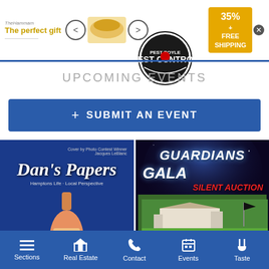[Figure (screenshot): Advertisement banner showing 'The perfect gift' text in gold, food images with navigation arrows, and a yellow box with '35% FREE SHIPPING' and close button. Below is a pest control circular logo.]
UPCOMING EVENTS
+ SUBMIT AN EVENT
[Figure (photo): Dan's Papers magazine cover on blue background showing stylized italic 'Dan's Papers' text and a wine bottle]
[Figure (photo): Guardians Gala Silent Auction promotional image with galaxy background, showing 'VIP FOURSOME + LUNCH AT SEBONACK GOLF CLUB!' text over a golf club photo]
Sections   Real Estate   Contact   Events   Taste